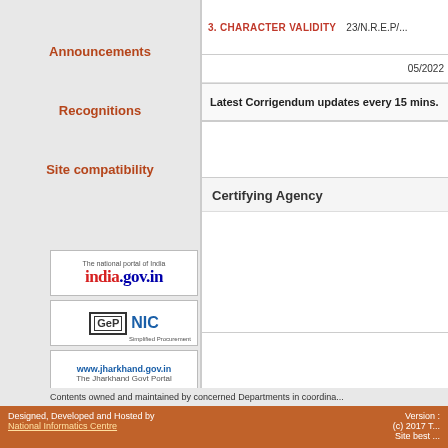3. CHARACTER VALIDITY
23/N.R.E.P/...
05/2022
Latest Corrigendum updates every 15 mins.
Certifying Agency
Announcements
Recognitions
Site compatibility
[Figure (logo): india.gov.in - The national portal of India logo]
[Figure (logo): GeP NIC Simplified Procurement logo]
[Figure (logo): www.jharkhand.gov.in - The Jharkhand Govt Portal logo]
[Figure (logo): Government of India Central Public Procurement Portal logo]
Contents owned and maintained by concerned Departments in coordination...
Designed, Developed and Hosted by National Informatics Centre
Version : (c) 2017 T... Site best ...